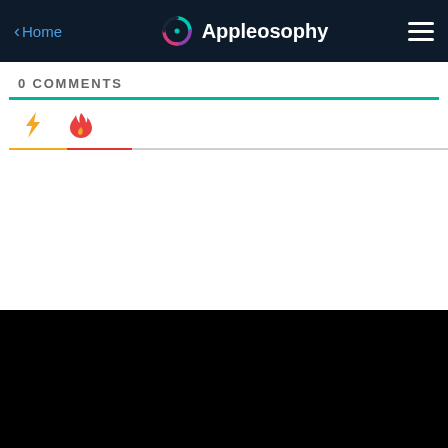< Home   Appleosophy  ☰
0 COMMENTS
[Figure (screenshot): Two icon tabs: a lightning bolt icon (orange) and a flame icon (red-orange), with a segmented underline tab indicator below them.]